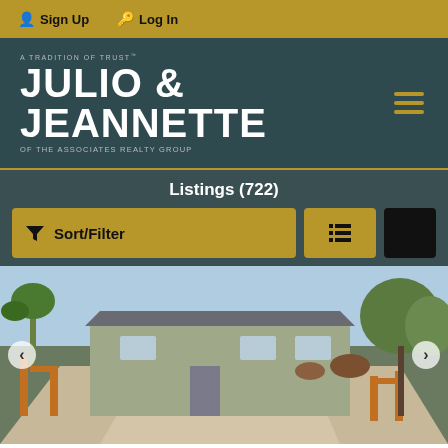Sign Up  Log In
[Figure (logo): Julio & Jeannette of The Associates Realty Group logo on dark teal background]
Listings (722)
Sort/Filter
[Figure (photo): Ranch-style house with gravel driveway, wood fence posts, palm trees and desert vegetation]
$409,900